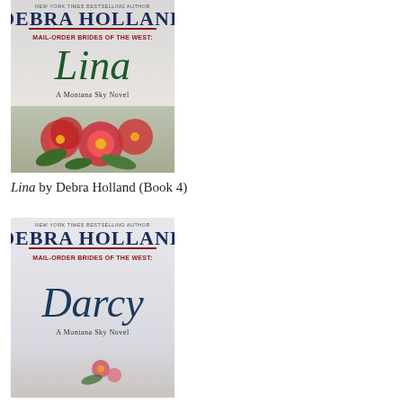[Figure (illustration): Book cover: Mail-Order Brides of the West: Lina by Debra Holland. Dark teal/navy background with red flowers at bottom, script title 'Lina', subtitle 'A Montana Sky Novel'.]
Lina by Debra Holland (Book 4)
[Figure (illustration): Book cover: Mail-Order Brides of the West: Darcy by Debra Holland. Light background with script title 'Darcy', subtitle 'A Montana Sky Novel', small floral elements.]